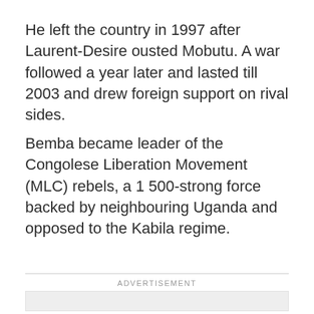He left the country in 1997 after Laurent-Desire ousted Mobutu. A war followed a year later and lasted till 2003 and drew foreign support on rival sides.
Bemba became leader of the Congolese Liberation Movement (MLC) rebels, a 1 500-strong force backed by neighbouring Uganda and opposed to the Kabila regime.
ADVERTISEMENT
[Figure (other): Advertisement placeholder box (gray rectangle)]